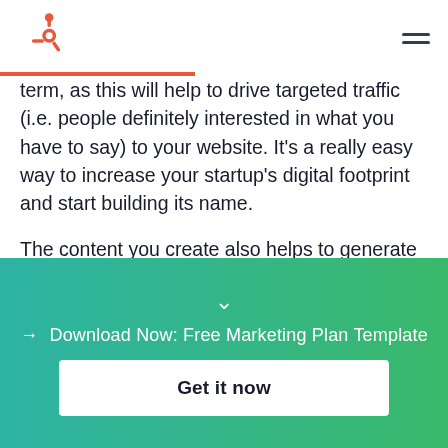HubSpot logo and navigation
term, as this will help to drive targeted traffic (i.e. people definitely interested in what you have to say) to your website. It's a really easy way to increase your startup's digital footprint and start building its name.
The content you create also helps to generate leads and demonstrate your expertise. You could, for instance, produce informative ebooks and gate them
→ Download Now: Free Marketing Plan Template
Get it now